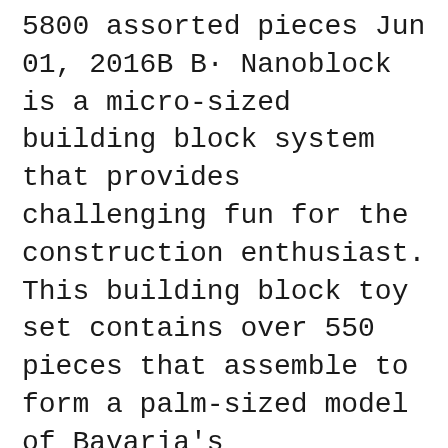5800 assorted pieces Jun 01, 2016B B· Nanoblock is a micro-sized building block system that provides challenging fun for the construction enthusiast. This building block toy set contains over 550 pieces that assemble to form a palm-sized model of Bavaria's Neuschwanstein Castle. It is suitable for children ages 8 and up. Nanoblock Sites to See, Level 3, Neuschwanstein Castle:
Aug 26, 2011B B· Shop nanoblock NAN-NBH010 Schloss Neuschwanstein Building Set. Free delivery and returns on eligible orders of BJ20 or more. Includes detailed instructions nanoblock Schloss Neuschwanstein Gothic Castle 5.0 out of 5 stars 11. BJ147.23. Next.